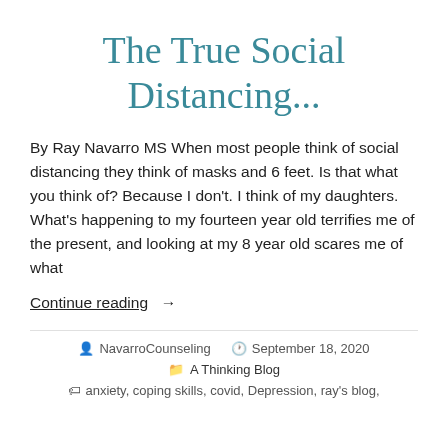The True Social Distancing...
By Ray Navarro MS When most people think of social distancing they think of masks and 6 feet. Is that what you think of? Because I don't. I think of my daughters. What's happening to my fourteen year old terrifies me of the present, and looking at my 8 year old scares me of what
Continue reading →
NavarroCounseling    September 18, 2020
A Thinking Blog
anxiety, coping skills, covid, Depression, ray's blog,